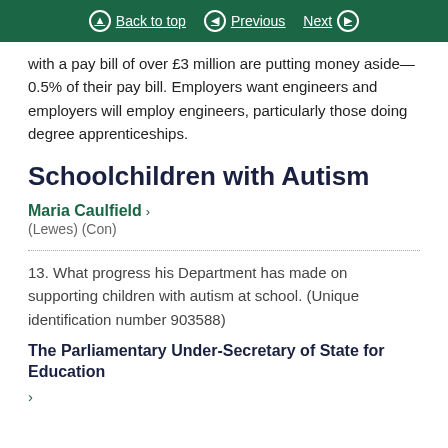Back to top   Previous   Next
with a pay bill of over £3 million are putting money aside—0.5% of their pay bill. Employers want engineers and employers will employ engineers, particularly those doing degree apprenticeships.
Schoolchildren with Autism
Maria Caulfield > (Lewes) (Con)
13. What progress his Department has made on supporting children with autism at school. (Unique identification number 903588)
The Parliamentary Under-Secretary of State for Education >